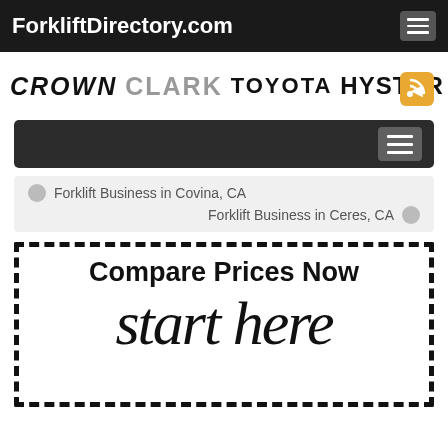ForkliftDirectory.com
[Figure (logo): Brand logos: CROWN, CLARK, TOYOTA, HYSTER with RSS feed icon]
[Figure (screenshot): Secondary navigation bar with hamburger menu button]
Forklift Business in Covina, CA | Forklift Business in Ceres, CA
[Figure (infographic): Compare Prices Now call-to-action box with dashed border and 'start here' handwritten text]